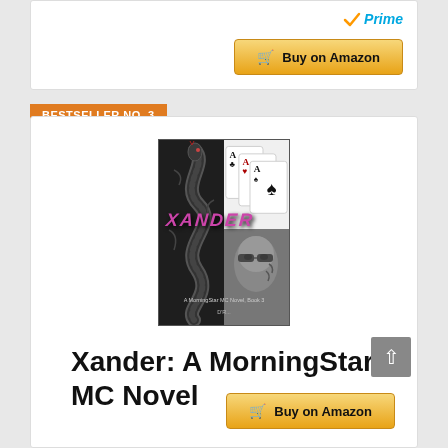[Figure (screenshot): Amazon Prime badge with orange checkmark and blue Prime text]
Buy on Amazon
BESTSELLER NO. 3
[Figure (photo): Book cover of Xander: A MorningStar MC Novel - black and white image featuring snake tattoo, playing cards with aces, and a person's face, with purple stylized title XANDER]
Xander: A MorningStar MC Novel
Buy on Amazon